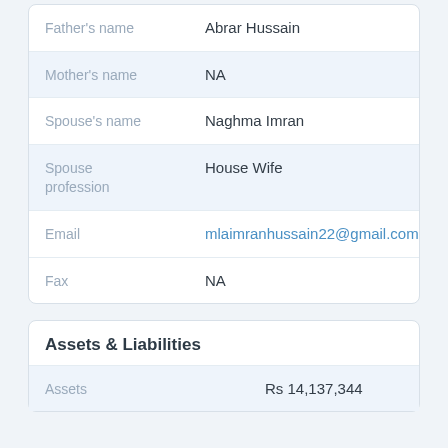| Field | Value |
| --- | --- |
| Father's name | Abrar Hussain |
| Mother's name | NA |
| Spouse's name | Naghma Imran |
| Spouse profession | House Wife |
| Email | mlaimranhussain22@gmail.com |
| Fax | NA |
Assets & Liabilities
| Field | Value |
| --- | --- |
| Assets | Rs 14,137,344 |